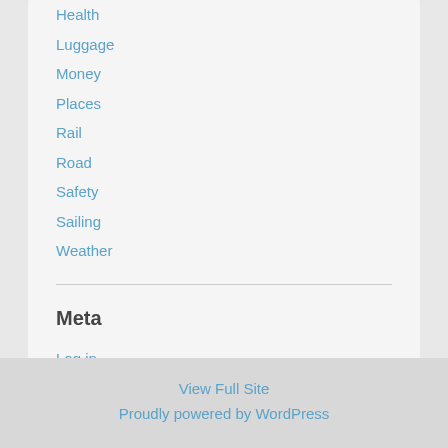Health
Luggage
Money
Places
Rail
Road
Safety
Sailing
Weather
Meta
Log in
Entries feed
Comments feed
WordPress.org
View Full Site
Proudly powered by WordPress